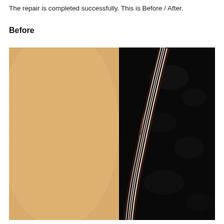The repair is completed successfully. This is Before / After.
Before
[Figure (photo): Close-up photo of a guitar binding area before repair, showing the edge where the wooden top (light tan spruce grain texture) meets the decorative binding (white and dark stripes) and the dark fretboard or body side. The binding appears to have damage or separation visible.]